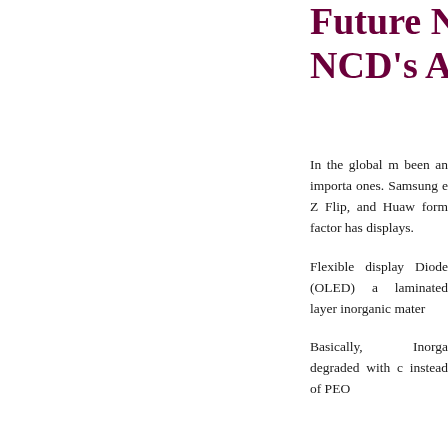Future NCD's A
In the global m been an importa ones. Samsung e Z Flip, and Huaw form factor has displays.
Flexible display Diode (OLED) a laminated layer inorganic mater
Basically, Inorga degraded with c instead of PEO